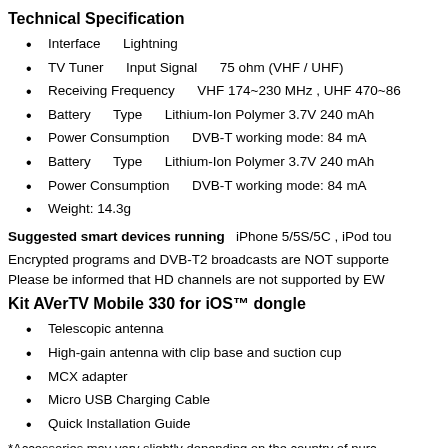Technical  Specification
Interface    Lightning
TV Tuner    Input Signal    75 ohm (VHF / UHF)
Receiving Frequency    VHF 174~230 MHz , UHF 470~86
Battery    Type    Lithium-Ion Polymer 3.7V 240 mAh
Power Consumption    DVB-T working mode: 84 mA
Battery    Type    Lithium-Ion Polymer 3.7V 240 mAh
Power Consumption    DVB-T working mode: 84 mA
Weight: 14.3g
Suggested smart devices running  iPhone 5/5S/5C , iPod tou
Encrypted programs and DVB-T2 broadcasts are NOT supporte
Please be informed that HD channels are not supported by EW
Kit AVerTV Mobile 330 for iOS™ dongle
Telescopic antenna
High-gain antenna with clip base and suction cup
MCX adapter
Micro USB Charging Cable
Quick Installation Guide
*Accessories may vary slightly depending on the country of purc